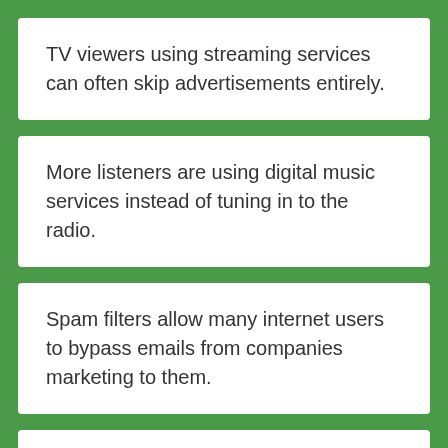TV viewers using streaming services can often skip advertisements entirely.
More listeners are using digital music services instead of tuning in to the radio.
Spam filters allow many internet users to bypass emails from companies marketing to them.
Ad blockers are more widely used than ever before.